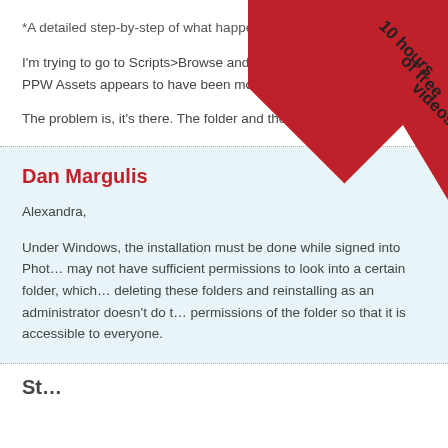*A detailed step-by-step of what happen…
I'm trying to go to Scripts>Browse and run PPW… PPW Assets appears to have been moved, renamed…
The problem is, it's there. The folder and the installer are in t…
Dan Margulis
Alexandra,
Under Windows, the installation must be done while signed into Phot… may not have sufficient permissions to look into a certain folder, which… deleting these folders and reinstalling as an administrator doesn't do t… permissions of the folder so that it is accessible to everyone.
St…
[Figure (illustration): Red triangular corner banner with text '10 hours of free videos' in dark gray, rotated 45 degrees in the top-right corner of the page.]